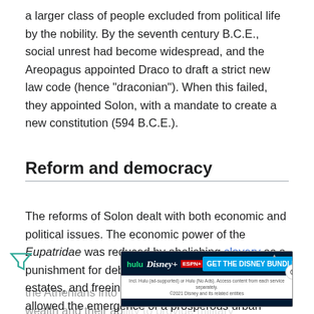a larger class of people excluded from political life by the nobility. By the seventh century B.C.E., social unrest had become widespread, and the Areopagus appointed Draco to draft a strict new law code (hence "draconian"). When this failed, they appointed Solon, with a mandate to create a new constitution (594 B.C.E.).
Reform and democracy
The reforms of Solon dealt with both economic and political issues. The economic power of the Eupatridae was reduced by abolishing slavery as a punishment for debt, breaking up large landed estates, and freeing up trade and commerce, which allowed the emergence of a prosperous urban trading class. Politically, Solon divided the Athenians into four classes, based on their wealth and their ability to provide military equipment. The lowest class, the Thetes, who had previously been excluded from government, received political rights for the first time, being able to vote
[Figure (other): Advertisement banner for the Disney Bundle (Hulu, Disney+, ESPN+) with the text 'GET THE DISNEY BUNDLE'. Includes small print about Hulu subscription options and Disney related entities copyright 2021.]